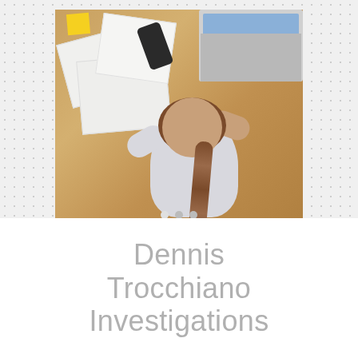[Figure (photo): Overhead view of a person with a braided ponytail sitting at a wooden desk, reviewing documents with a pen in hand. A laptop, smartphone, yellow sticky notes, and scattered papers are visible on the desk. Carousel navigation dots appear at the bottom of the image.]
Dennis Trocchiano Investigations